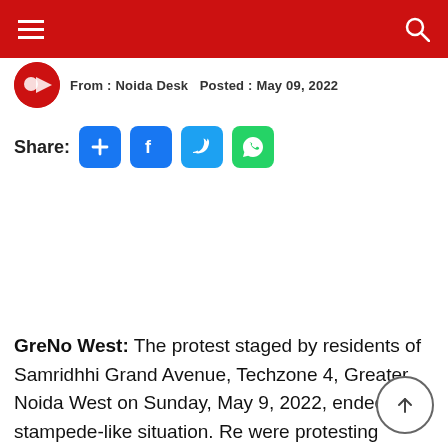From : Noida Desk    Posted : May 09, 2022
Share:
GreNo West: The protest staged by residents of Samridhhi Grand Avenue, Techzone 4, Greater Noida West on Sunday, May 9, 2022, ended in a stampede-like situation. Re were protesting against the builder for the hike in Dies